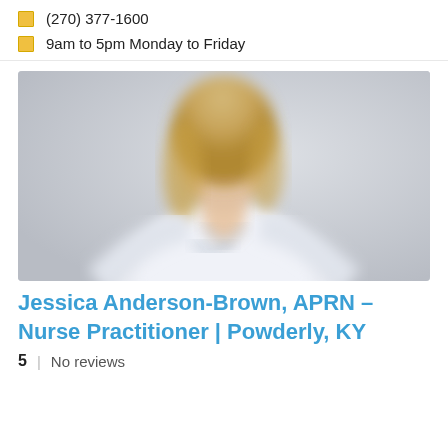(270) 377-1600
9am to 5pm Monday to Friday
[Figure (photo): Blurred photo of a female nurse practitioner in a white coat with a stethoscope, blonde hair, smiling, against a light grey background.]
Jessica Anderson-Brown, APRN – Nurse Practitioner | Powderly, KY
5  |  No reviews